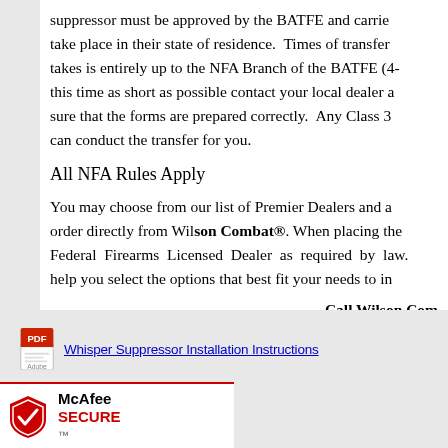suppressor must be approved by the BATFE and carrie… take place in their state of residence. Times of transfer takes is entirely up to the NFA Branch of the BATFE (4-… this time as short as possible contact your local dealer a… sure that the forms are prepared correctly. Any Class 3 can conduct the transfer for you.
All NFA Rules Apply
You may choose from our list of Premier Dealers and a… order directly from Wilson Combat®. When placing the… Federal Firearms Licensed Dealer as required by law.… help you select the options that best fit your needs to in… Call Wilson Com…
[Figure (other): Adobe PDF icon linking to Whisper Suppressor Installation Instructions]
Whisper Suppressor Installation Instructions
[Figure (other): Adobe PDF icon for a second document link (partially visible)]
…it Instructions
[Figure (logo): McAfee SECURE logo — shield icon with McAfee SECURE text]